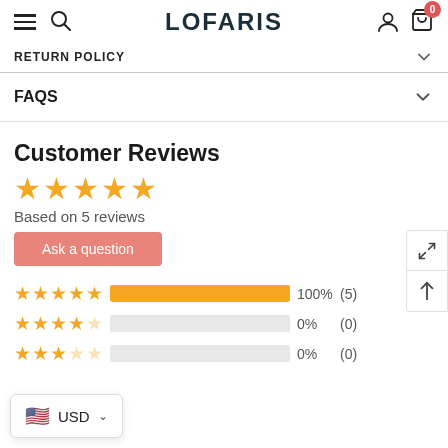LOFARIS — navigation header with hamburger, search, user, cart icons
RETURN POLICY
FAQS
Customer Reviews
Based on 5 reviews
Ask a question
[Figure (bar-chart): Rating distribution]